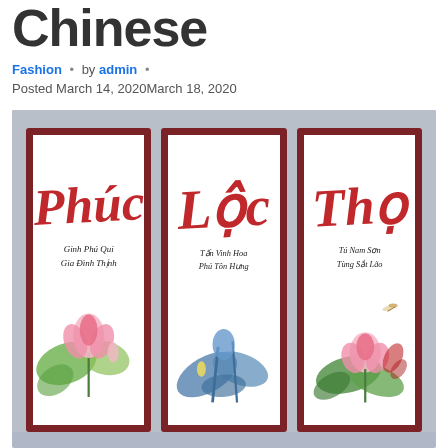Chinese
Fashion • by admin • Posted March 14, 2020 March 18, 2020
[Figure (photo): Three framed Vietnamese calligraphy artworks with lotus flower paintings. Left frame has 'Phúc' (Luck/Blessing) in red with black script text and pink lotus. Middle frame has 'Lộc' (Prosperity) in red with black script text and blue lotus leaves. Right frame has 'Thọ' (Longevity) in red with black script text and pink lotus flowers. All frames are dark mahogany red wood. Set against a gray background.]